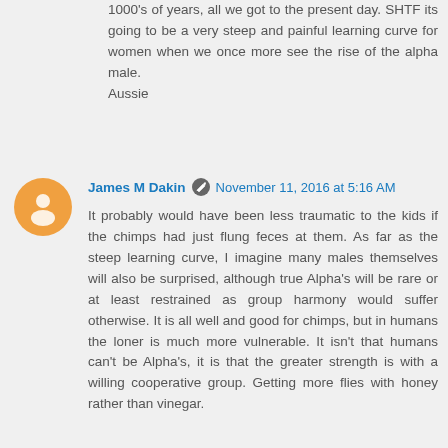1000's of years, all we got to the present day. SHTF its going to be a very steep and painful learning curve for women when we once more see the rise of the alpha male.
Aussie
James M Dakin  November 11, 2016 at 5:16 AM
It probably would have been less traumatic to the kids if the chimps had just flung feces at them. As far as the steep learning curve, I imagine many males themselves will also be surprised, although true Alpha's will be rare or at least restrained as group harmony would suffer otherwise. It is all well and good for chimps, but in humans the loner is much more vulnerable. It isn't that humans can't be Alpha's, it is that the greater strength is with a willing cooperative group. Getting more flies with honey rather than vinegar.